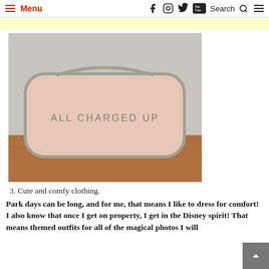Menu | Social icons | Search | Menu
[Figure (photo): A beige/blush pink fabric pouch with silver zipper trim sitting on a wooden surface. The pouch has text that reads 'ALL CHARGED UP' on its front.]
3. Cute and comfy clothing.
Park days can be long, and for me, that means I like to dress for comfort! I also know that once I get on property, I get in the Disney spirit! That means themed outfits for all of the magical photos I will